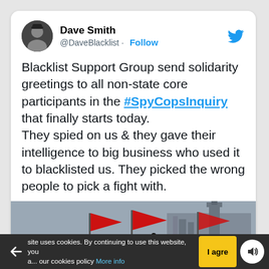Dave Smith @DaveBlacklist · Follow
Blacklist Support Group send solidarity greetings to all non-state core participants in the #SpyCopsInquiry that finally starts today.
They spied on us & they gave their intelligence to big business who used it to blacklisted us. They picked the wrong people to pick a fight with.
[Figure (photo): Crowd of protesters waving red flags in front of a large stone building (appears to be the Palace of Westminster), outdoors, overcast sky.]
site uses cookies. By continuing to use this website, you a... our cookies policy More info